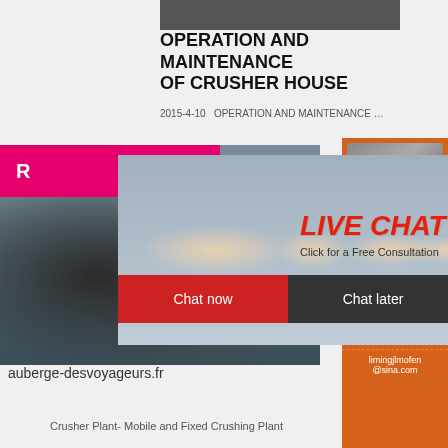[Figure (photo): Top strip photo of industrial/crusher plant machinery]
OPERATION AND MAINTENANCE OF CRUSHER HOUSE
2015-4-10   OPERATION AND MAINTENANCE …
[Figure (photo): Large photo of crusher/industrial machinery with cylindrical drum]
[Figure (photo): Live chat popup overlay with workers in yellow hard hats, text: LIVE CHAT, Click for a Free Consultation, Chat now, Chat later buttons]
[Figure (photo): Right sidebar orange panel with crusher machine images, Enjoy 3% discount, Click to Chat, Enquiry, limingjlmofen@sina.com]
auberge-desvoyageurs.fr
Crusher Plant- Mobile and Fixed Crushing Plant